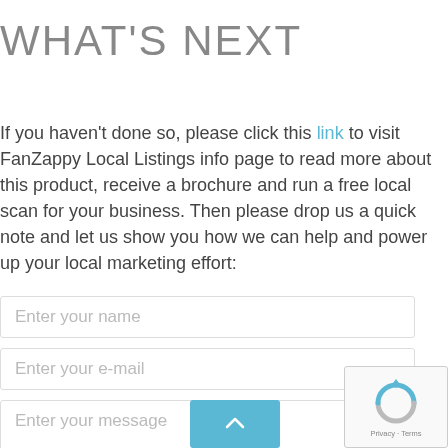WHAT'S NEXT
If you haven't done so, please click this link to visit FanZappy Local Listings info page to read more about this product, receive a brochure and run a free local scan for your business. Then please drop us a quick note and let us show you how we can help and power up your local marketing effort:
Enter your name
Enter your e-mail
Enter your message